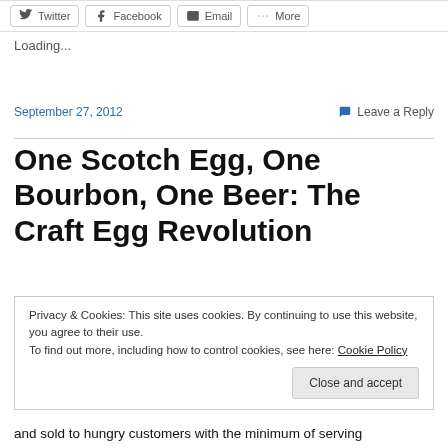Twitter  Facebook  Email  More
Loading...
September 27, 2012
Leave a Reply
One Scotch Egg, One Bourbon, One Beer: The Craft Egg Revolution
Privacy & Cookies: This site uses cookies. By continuing to use this website, you agree to their use.
To find out more, including how to control cookies, see here: Cookie Policy
Close and accept
and sold to hungry customers with the minimum of serving